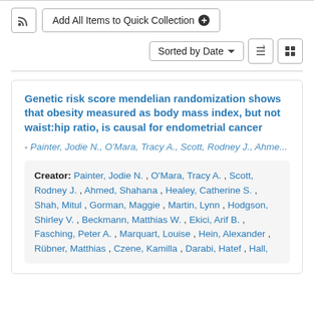[Figure (screenshot): RSS feed icon button]
Add All Items to Quick Collection +
Sorted by Date
Genetic risk score mendelian randomization shows that obesity measured as body mass index, but not waist:hip ratio, is causal for endometrial cancer
- Painter, Jodie N., O'Mara, Tracy A., Scott, Rodney J., Ahme...
Creator: Painter, Jodie N. , O'Mara, Tracy A. , Scott, Rodney J. , Ahmed, Shahana , Healey, Catherine S. , Shah, Mitul , Gorman, Maggie , Martin, Lynn , Hodgson, Shirley V. , Beckmann, Matthias W. , Ekici, Arif B. , Fasching, Peter A. , Marquart, Louise , Hein, Alexander , Rübner, Matthias , Czene, Kamilla , Darabi, Hatef , Hall,